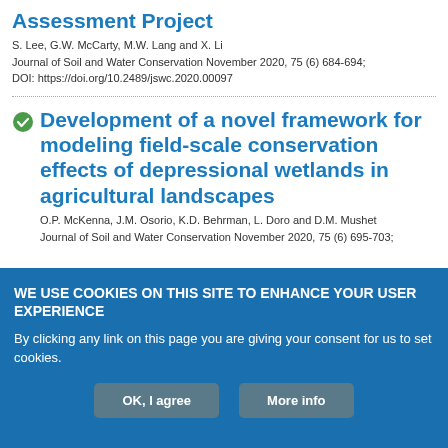Assessment Project
S. Lee, G.W. McCarty, M.W. Lang and X. Li
Journal of Soil and Water Conservation November 2020, 75 (6) 684-694; DOI: https://doi.org/10.2489/jswc.2020.00097
Development of a novel framework for modeling field-scale conservation effects of depressional wetlands in agricultural landscapes
O.P. McKenna, J.M. Osorio, K.D. Behrman, L. Doro and D.M. Mushet
Journal of Soil and Water Conservation November 2020, 75 (6) 695-703;
WE USE COOKIES ON THIS SITE TO ENHANCE YOUR USER EXPERIENCE
By clicking any link on this page you are giving your consent for us to set cookies.